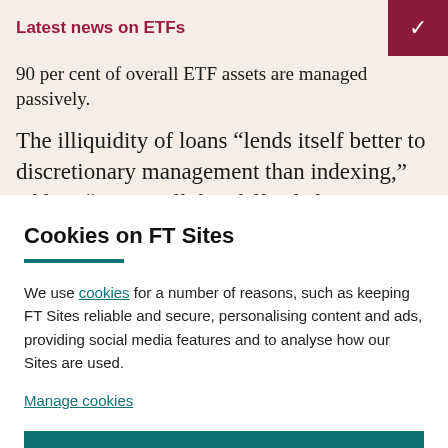Latest news on ETFs
90 per cent of overall ETF assets are managed passively.
The illiquidity of loans “lends itself better to discretionary management than indexing,” adding “it’s not all that difficult for active managers to do better than the
Cookies on FT Sites
We use cookies for a number of reasons, such as keeping FT Sites reliable and secure, personalising content and ads, providing social media features and to analyse how our Sites are used.
Manage cookies
Accept & continue